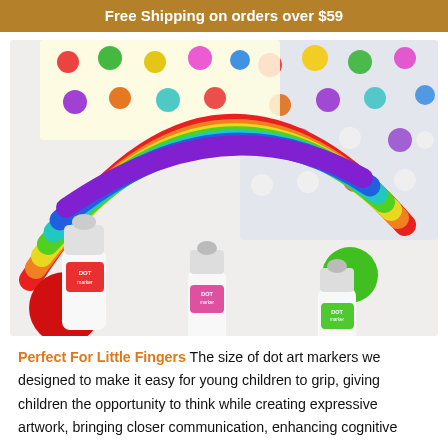Free Shipping on orders over $59
[Figure (photo): Photo of colorful dot art markers (labelled DOT marker) arranged with a rainbow painted in multiple colors on a white surface, alongside a tray with colorful polka dots.]
Perfect For Little Fingers  The size of dot art markers we designed to make it easy for young children to grip, giving children the opportunity to think while creating expressive artwork, bringing closer communication, enhancing cognitive